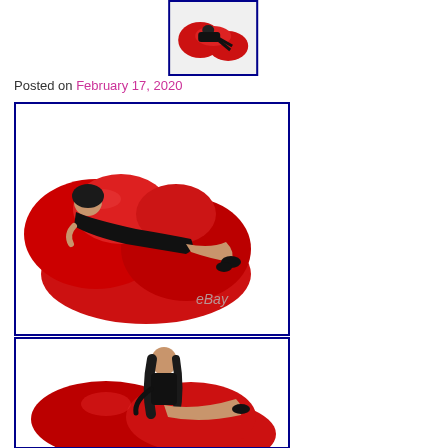[Figure (photo): Thumbnail image of a woman lying on a red lips-shaped sofa, with blue border]
Posted on February 17, 2020
[Figure (photo): Woman in black outfit lying on a large red lips-shaped sofa/furniture on white background, with eBay watermark]
[Figure (photo): Woman sitting on a large red lips-shaped sofa/furniture on white background, partial view]